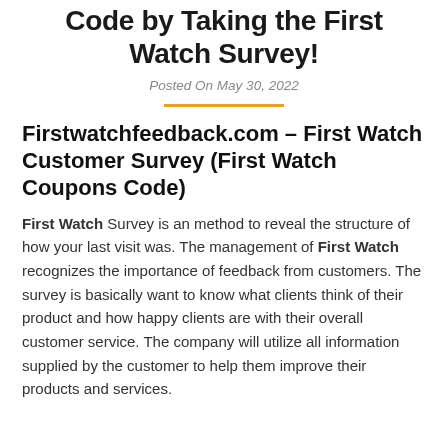Code by Taking the First Watch Survey!
Posted On May 30, 2022
Firstwatchfeedback.com – First Watch Customer Survey (First Watch Coupons Code)
First Watch Survey is an method to reveal the structure of how your last visit was. The management of First Watch recognizes the importance of feedback from customers. The survey is basically want to know what clients think of their product and how happy clients are with their overall customer service. The company will utilize all information supplied by the customer to help them improve their products and services.